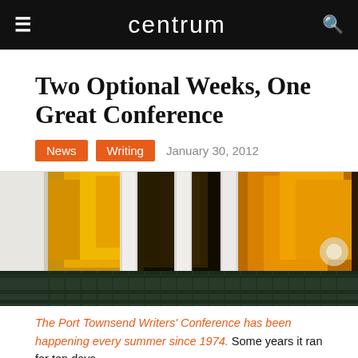centrum
Two Optional Weeks, One Great Conference
News  Writing  January 30, 2012
[Figure (photo): Photograph of a white-columned porch with golden autumn foliage trees visible between the columns and a green railing in the foreground]
The Port Townsend Writers' Conference has been happening every summer since 1974. Some years it ran for ten days